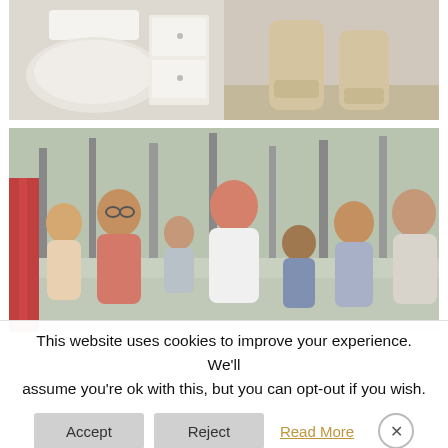[Figure (photo): Close-up photo of a white toilet and a person wearing tall beige/cream boots standing beside it in a bathroom setting.]
[Figure (photo): Family photo of a man and woman with several children standing outdoors in front of trees. The man has a beard and glasses, the woman has red hair.]
This website uses cookies to improve your experience. We'll assume you're ok with this, but you can opt-out if you wish.
Accept
Reject
Read More